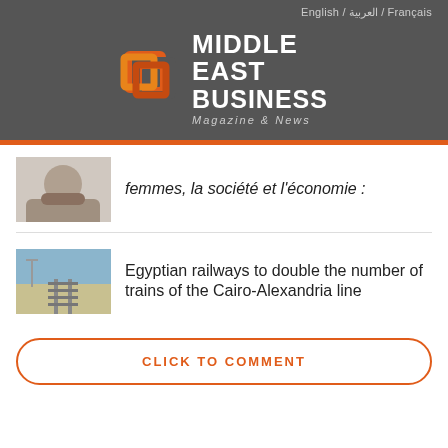English / العربية / Français
[Figure (logo): Middle East Business Magazine & News logo with orange geometric squares icon and white bold text]
femmes, la société et l'économie :
Egyptian railways to double the number of trains of the Cairo-Alexandria line
CLICK TO COMMENT